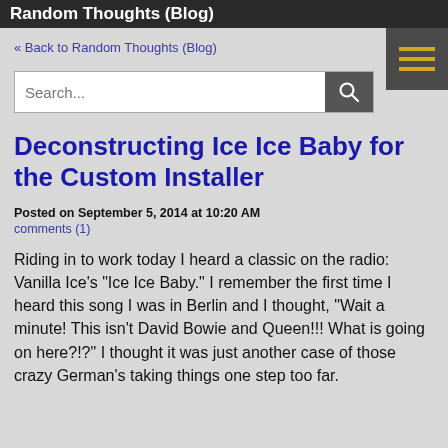Random Thoughts (Blog)
« Back to Random Thoughts (Blog)
Deconstructing Ice Ice Baby for the Custom Installer
Posted on September 5, 2014 at 10:20 AM
comments (1)
Riding in to work today I heard a classic on the radio: Vanilla Ice's "Ice Ice Baby." I remember the first time I heard this song I was in Berlin and I thought, "Wait a minute! This isn't David Bowie and Queen!!! What is going on here?!?" I thought it was just another case of those crazy German's taking things one step too far.